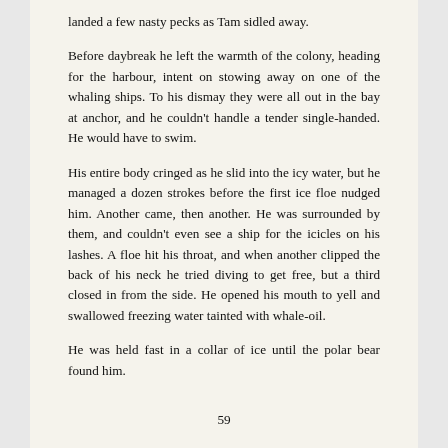landed a few nasty pecks as Tam sidled away.
Before daybreak he left the warmth of the colony, heading for the harbour, intent on stowing away on one of the whaling ships. To his dismay they were all out in the bay at anchor, and he couldn't handle a tender single-handed. He would have to swim.
His entire body cringed as he slid into the icy water, but he managed a dozen strokes before the first ice floe nudged him. Another came, then another. He was surrounded by them, and couldn't even see a ship for the icicles on his lashes. A floe hit his throat, and when another clipped the back of his neck he tried diving to get free, but a third closed in from the side. He opened his mouth to yell and swallowed freezing water tainted with whale-oil.
He was held fast in a collar of ice until the polar bear found him.
59